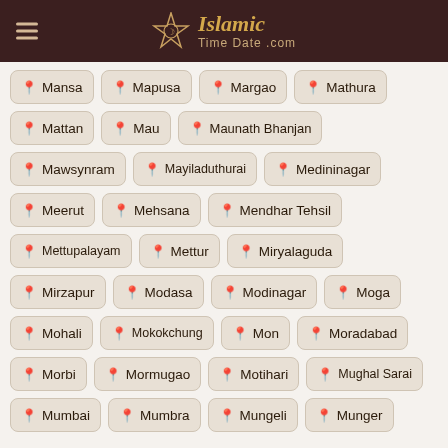Islamic Time Date .com
Mansa
Mapusa
Margao
Mathura
Mattan
Mau
Maunath Bhanjan
Mawsynram
Mayiladuthurai
Medininagar
Meerut
Mehsana
Mendhar Tehsil
Mettupalayam
Mettur
Miryalaguda
Mirzapur
Modasa
Modinagar
Moga
Mohali
Mokokchung
Mon
Moradabad
Morbi
Mormugao
Motihari
Mughal Sarai
Mumbai
Mumbra
Mungeli
Munger